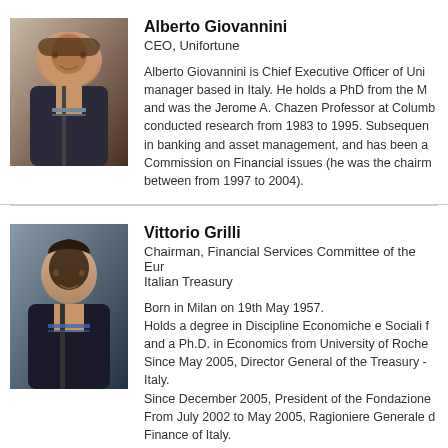[Figure (photo): Headshot of Alberto Giovannini, middle-aged man in suit and tie]
Alberto Giovannini
CEO, Unifortune
Alberto Giovannini is Chief Executive Officer of Uni manager based in Italy. He holds a PhD from the M and was the Jerome A. Chazen Professor at Columb conducted research from 1983 to 1995. Subsequen in banking and asset management, and has been a Commission on Financial issues (he was the chairm between from 1997 to 2004).
[Figure (photo): Headshot of Vittorio Grilli, younger man in suit and tie]
Vittorio Grilli
Chairman, Financial Services Committee of the Eur Italian Treasury
Born in Milan on 19th May 1957.
Holds a degree in Discipline Economiche e Sociali f and a Ph.D. in Economics from University of Roche Since May 2005, Director General of the Treasury - Italy.
Since December 2005, President of the Fondazione From July 2002 to May 2005, Ragioniere Generale d Finance of Italy.
From 2001 to 2002, Managing Director at Credit